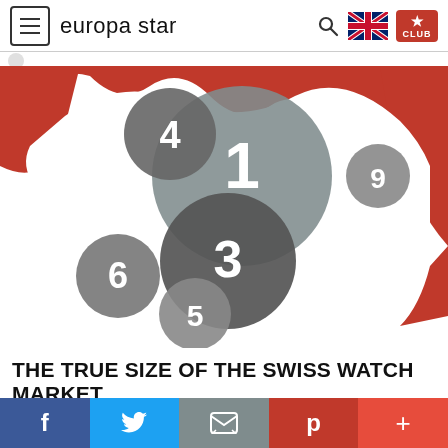europa star
[Figure (map): Bubble map showing ranked Swiss watch market sizes by region. Numbered circles (1, 3, 4, 5, 6, 9) of varying sizes overlaid on a red and white map silhouette representing Switzerland/Europe. Largest circle labeled '1' in center, overlapping with circle '3', smaller circles for '4', '6', '5', '9'.]
THE TRUE SIZE OF THE SWISS WATCH MARKET
DATA